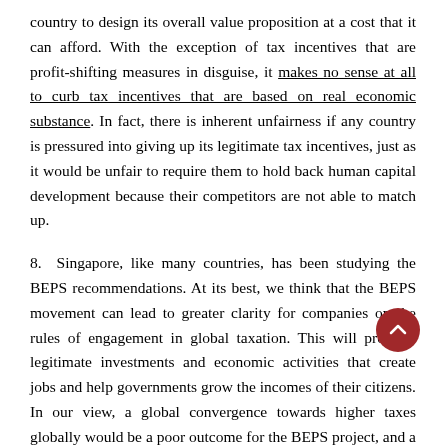country to design its overall value proposition at a cost that it can afford. With the exception of tax incentives that are profit-shifting measures in disguise, it makes no sense at all to curb tax incentives that are based on real economic substance. In fact, there is inherent unfairness if any country is pressured into giving up its legitimate tax incentives, just as it would be unfair to require them to hold back human capital development because their competitors are not able to match up.
8. Singapore, like many countries, has been studying the BEPS recommendations. At its best, we think that the BEPS movement can lead to greater clarity for companies on the rules of engagement in global taxation. This will promote legitimate investments and economic activities that create jobs and help governments grow the incomes of their citizens. In our view, a global convergence towards higher taxes globally would be a poor outcome for the BEPS project, and a severe impediment to uplifting global growth